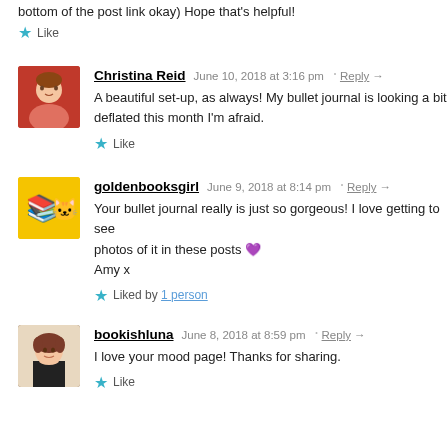bottom of the post link okay) Hope that’s helpful!
★ Like
Christina Reid   June 10, 2018 at 3:16 pm · Reply →
A beautiful set-up, as always! My bullet journal is looking a bit deflated this month I’m afraid.
★ Like
goldenbooksgirl   June 9, 2018 at 8:14 pm · Reply →
Your bullet journal really is just so gorgeous! I love getting to see photos of it in these posts 💜
Amy x
★ Liked by 1 person
bookishluna   June 8, 2018 at 8:59 pm · Reply →
I love your mood page! Thanks for sharing.
★ Like